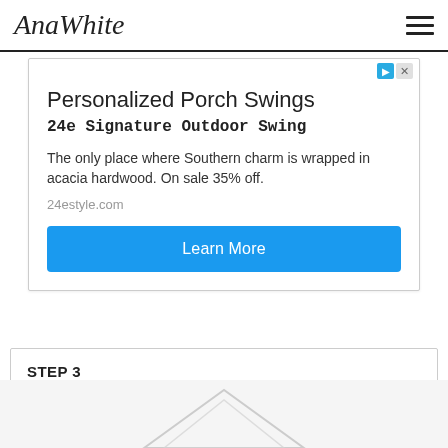AnaWhite
[Figure (screenshot): Advertisement for Personalized Porch Swings - 24e Signature Outdoor Swing. Text: The only place where Southern charm is wrapped in acacia hardwood. On sale 35% off. URL: 24estyle.com. Blue 'Learn More' button.]
STEP 3
[Figure (photo): Partial image of a wooden furniture frame/step at the bottom of the page]